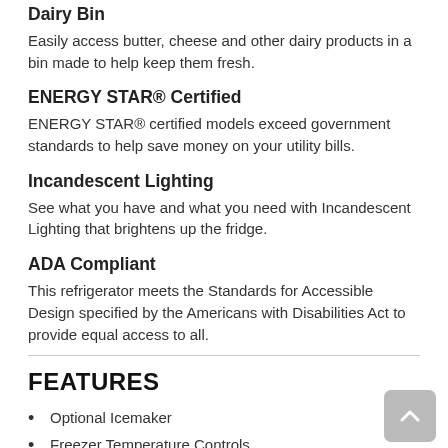Dairy Bin
Easily access butter, cheese and other dairy products in a bin made to help keep them fresh.
ENERGY STAR® Certified
ENERGY STAR® certified models exceed government standards to help save money on your utility bills.
Incandescent Lighting
See what you have and what you need with Incandescent Lighting that brightens up the fridge.
ADA Compliant
This refrigerator meets the Standards for Accessible Design specified by the Americans with Disabilities Act to provide equal access to all.
FEATURES
Optional Icemaker
Freezer Temperature Controls
Quiet Cooling